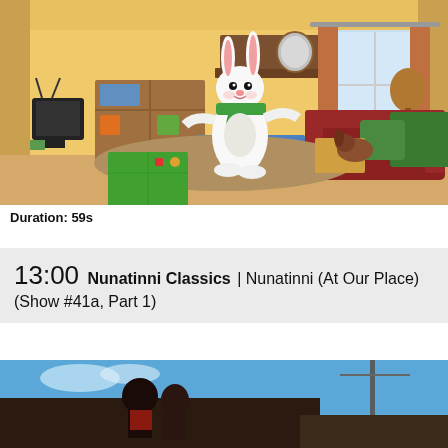[Figure (illustration): Animated cartoon scene showing a white bunny character with a green scarf standing in a living room with a couch, bookshelf, TV, window with curtains, toys, and a rug.]
Duration: 59s
13:00 Nunatinni Classics | Nunatinni (At Our Place) (Show #41a, Part 1)
[Figure (photo): Outdoor photo showing people on a rooftop against a blue sky with a utility pole visible.]